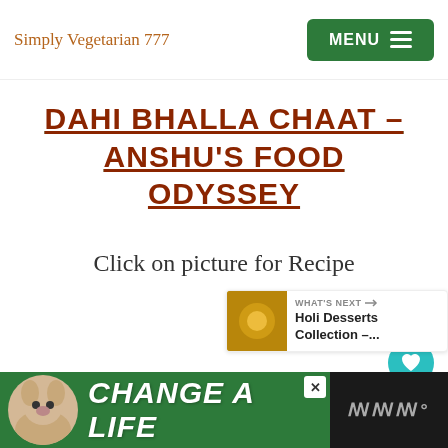Simply Vegetarian 777 | MENU
DAHI BHALLA CHAAT – ANSHU'S FOOD ODYSSEY
Click on picture for Recipe
[Figure (illustration): Heart (like) button, teal circle with white heart icon]
[Figure (illustration): Share button, white circle with share icon]
[Figure (illustration): What's Next panel with food thumbnail image and text: WHAT'S NEXT → Holi Desserts Collection –...]
[Figure (illustration): Bottom advertisement banner: dog photo, CHANGE A LIFE text on green background, close button, heart icon, Waze-like logo on dark right side]